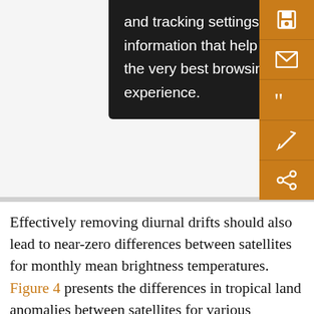[Figure (screenshot): A black cookie/tracking settings popup overlay on a web page, with a white text: 'and tracking settings to store information that help give you the very best browsing experience.' An orange sidebar on the right shows save, email, quote, annotation, and share icons. Partial text 'Cli' and '10.1' visible at top right.]
Effectively removing diurnal drifts should also lead to near-zero differences between satellites for monthly mean brightness temperatures. Figure 4 presents the differences in tropical land anomalies between satellites for various